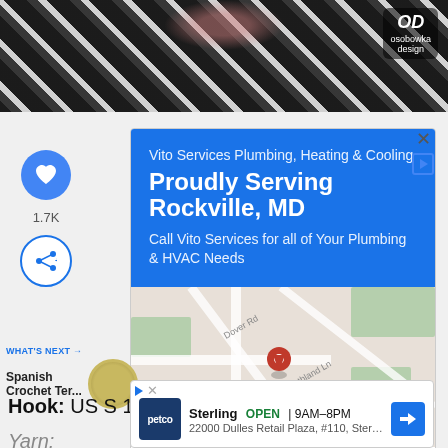[Figure (photo): Top portion of a person wearing a black and white patterned garment, with an OD (Osobowka Design) logo watermark in the top right corner]
[Figure (screenshot): Google Maps advertisement for Vito Services Plumbing, Heating & Cooling with blue header, map view, Store info and Directions buttons]
1.7K
WHAT'S NEXT → Spanish Crochet Ter...
Hook: US S 19mm
Yarn:
[Figure (screenshot): Petco store advertisement showing Sterling location, OPEN 9AM-8PM, 22000 Dulles Retail Plaza, #110, Sterling]